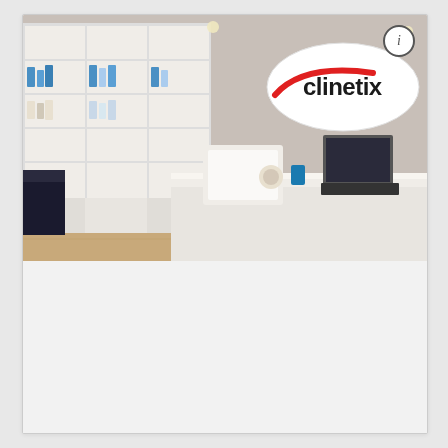[Figure (photo): Interior of Clinetix Rejuvenation clinic showing reception desk with monitor and keyboard, white shelving units stocked with products, and the Clinetix logo on the wall — a white oval with red swoosh and black text.]
Clinetix Rejuvenation
Treatment price: From £49.00
Distance: 3441.89 miles
View Practice